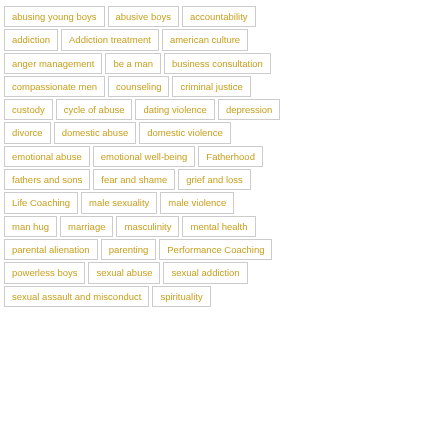abusing young boys
abusive boys
accountability
addiction
Addiction treatment
american culture
anger management
be a man
business consultation
compassionate men
counseling
criminal justice
custody
cycle of abuse
dating violence
depression
divorce
domestic abuse
domestic violence
emotional abuse
emotional well-being
Fatherhood
fathers and sons
fear and shame
grief and loss
Life Coaching
male sexuality
male violence
man hug
marriage
masculinity
mental health
parental alienation
parenting
Performance Coaching
powerless boys
sexual abuse
sexual addiction
sexual assault and misconduct
spirituality